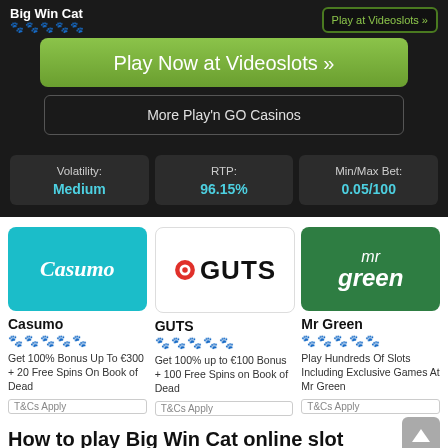Big Win Cat
Play Now at Videoslots »
Play at Videoslots »
More Play'n GO Casinos
Volatility: Medium
RTP: 96.15%
Min/Max Bet: 0.05/100
[Figure (logo): Casumo casino logo - teal background with white italic Casumo script text]
Casumo
Get 100% Bonus Up To €300 + 20 Free Spins On Book of Dead
T&Cs Apply
[Figure (logo): GUTS casino logo - white background with red circular icon and bold GUTS text]
GUTS
Get 100% up to €100 Bonus + 100 Free Spins on Book of Dead
T&Cs Apply
[Figure (logo): Mr Green casino logo - dark green background with mr green text and figure]
Mr Green
Play Hundreds Of Slots Including Exclusive Games At Mr Green
T&Cs Apply
How to play Big Win Cat online slot